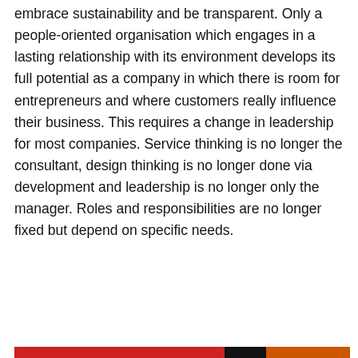embrace sustainability and be transparent. Only a people-oriented organisation which engages in a lasting relationship with its environment develops its full potential as a company in which there is room for entrepreneurs and where customers really influence their business. This requires a change in leadership for most companies. Service thinking is no longer the consultant, design thinking is no longer done via development and leadership is no longer only the manager. Roles and responsibilities are no longer fixed but depend on specific needs.
Privacy en cookies: Deze site maakt gebruik van cookies. Door verder te gaan op deze website, ga je akkoord met het gebruik hiervan. Voor meer informatie, onder andere over cookiebeheer, bekijk je: Cookiebeleid